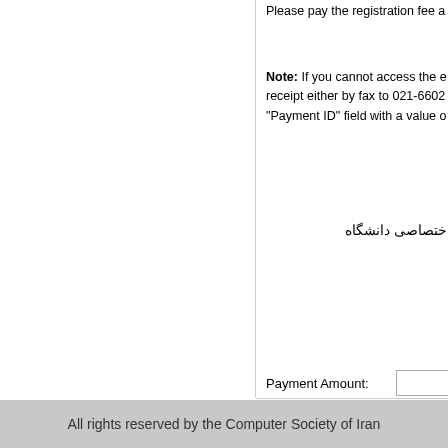Please pay the registration fee a...
Note: If you cannot access the e... receipt either by fax to 021-6602... "Payment ID" field with a value o...
ن درآمد اختصاصی دانشگاه
Payment Amount:
Payment ID:
Transaction ID:
Submit
All rights reserved by the Computer Society of Iran